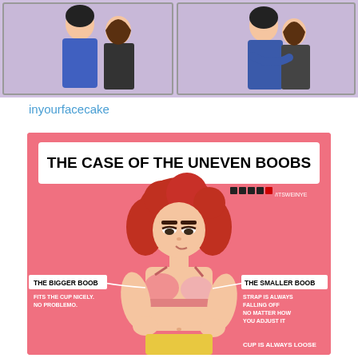[Figure (illustration): Two-panel comic strip showing two characters (a couple) hugging, with purple/lavender background]
inyourfacecake
[Figure (infographic): Infographic titled 'THE CASE OF THE UNEVEN BOOBS' on a pink background featuring a cartoon red-haired woman wearing a bra. Left side labels 'THE BIGGER BOOB' with subtext 'FITS THE CUP NICELY. NO PROBLEMO.' Right side labels 'THE SMALLER BOOB' with subtext 'STRAP IS ALWAYS FALLING OFF NO MATTER HOW YOU ADJUST IT'. Bottom right shows 'CUP IS ALWAYS LOOSE'. Social handle /ITSWEINYE shown at top right. By itsweinye.]